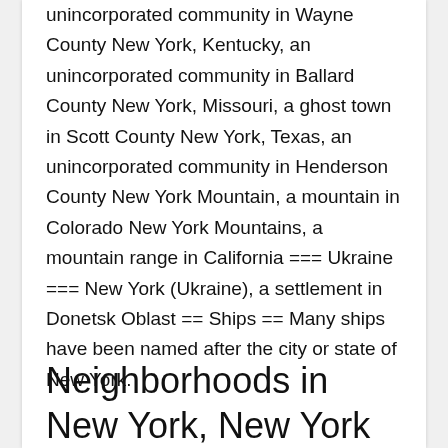unincorporated community in Wayne County New York, Kentucky, an unincorporated community in Ballard County New York, Missouri, a ghost town in Scott County New York, Texas, an unincorporated community in Henderson County New York Mountain, a mountain in Colorado New York Mountains, a mountain range in California === Ukraine === New York (Ukraine), a settlement in Donetsk Oblast == Ships == Many ships have been named after the city or state of New York.
Neighborhoods in New York, New York